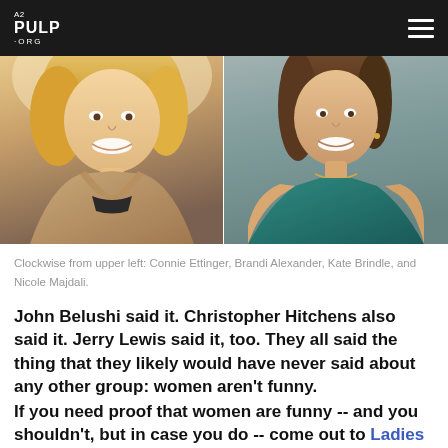A2 PULP .ORG
[Figure (photo): Split photo showing two women smiling. Left: blonde woman in tan/brown jacket. Right: brunette woman in teal off-shoulder top with necklace. Caption identifies them as part of group: Connie Ettinger, Brandi Alexander, Kate Brindle, and Nicole Majdali.]
Clockwise from upper left: Connie Ettinger, Brandi Alexander, Kate Brindle, and Nicole Majdali.
John Belushi said it. Christopher Hitchens also said it. Jerry Lewis said it, too. They all said the thing that they likely would have never said about any other group: women aren't funny.
If you need proof that women are funny -- and you shouldn't, but in case you do -- come out to Ladies